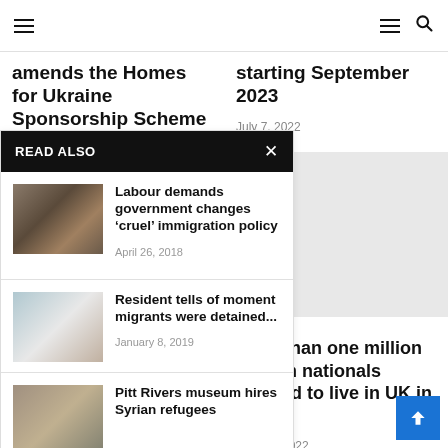Navigation bar with hamburger menu and search icon
amends the Homes for Ukraine Sponsorship Scheme
starting September 2023
July 7, 2022
READ ALSO
Labour demands government changes ‘cruel’ immigration policy
April 26, 2018
Resident tells of moment migrants were detained...
January 8, 2019
Pitt Rivers museum hires Syrian refugees
More than one million foreign nationals allowed to live in UK in a year
May 27, 2022